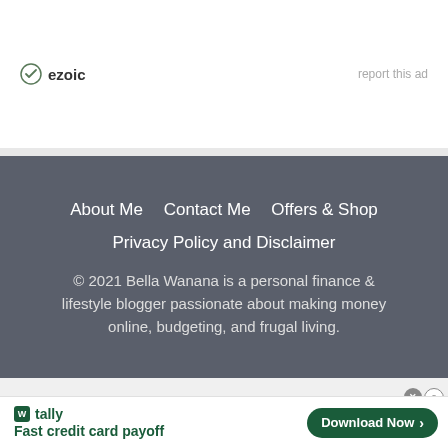[Figure (logo): Ezoic logo with circular icon and text 'ezoic']
report this ad
About Me    Contact Me    Offers & Shop
Privacy Policy and Disclaimer
© 2021 Bella Wanana is a personal finance & lifestyle blogger passionate about making money online, budgeting, and frugal living.
[Figure (screenshot): Tally app advertisement banner: 'Fast credit card payoff' with 'Download Now' button]